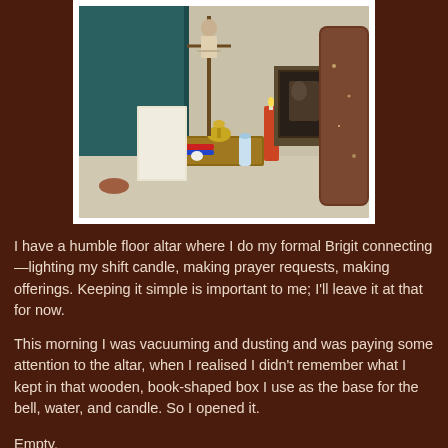[Figure (photo): A floor altar with various ritual objects including a bell, candles, a wooden box, a framed photo, a figurine on a cross-shaped stand, and other spiritual items on a light-colored floor with a teal/green curtain in the background.]
I have a humble floor altar where I do my formal Brigit connecting—lighting my shift candle, making prayer requests, making offerings. Keeping it simple is important to me; I'll leave it at that for now.
This morning I was vacuuming and dusting and was paying some attention to the altar, when I realised I didn't remember what I kept in that wooden, book-shaped box I use as the base for the bell, water, and candle. So I opened it.
Empty.